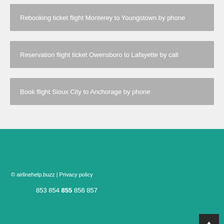Rebooking ticket flight Monterey to Youngstown by phone
Reservation flight ticket Owensboro to Lafayette by call
Book flight Sioux City to Anchorage by phone
© airlinehelp.buzz | Privacy policy
853 854 855 856 857